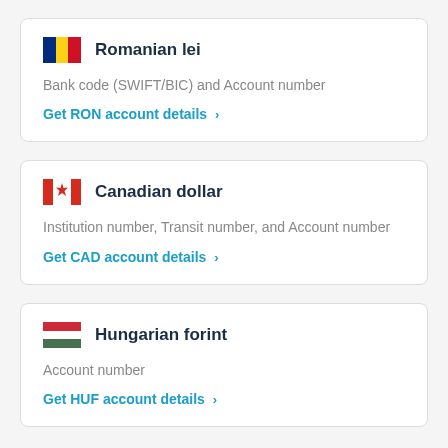Romanian lei
Bank code (SWIFT/BIC) and Account number
Get RON account details >
Canadian dollar
Institution number, Transit number, and Account number
Get CAD account details >
Hungarian forint
Account number
Get HUF account details >